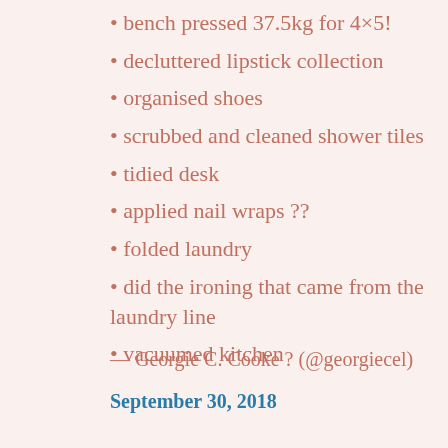bench pressed 37.5kg for 4×5!
decluttered lipstick collection
organised shoes
scrubbed and cleaned shower tiles
tidied desk
applied nail wraps ??
folded laundry
did the ironing that came from the laundry line
vacuumed kitchen
— Georgie C. Cooke ? (@georgiecel)
September 30, 2018